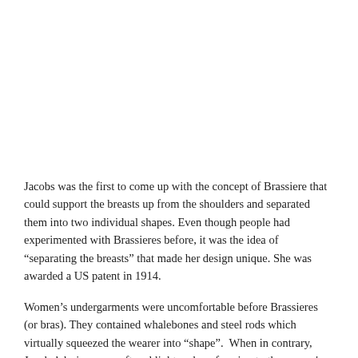Jacobs was the first to come up with the concept of Brassiere that could support the breasts up from the shoulders and separated them into two individual shapes. Even though people had experimented with Brassieres before, it was the idea of “separating the breasts” that made her design unique. She was awarded a US patent in 1914.
Women’s undergarments were uncomfortable before Brassieres (or bras). They contained whalebones and steel rods which virtually squeezed the wearer into “shape”.  When in contrary, Jacobs’ design was soft and light and conforming to the wearer's anatomy.
During WWI her bra design became popular when the U.S. government